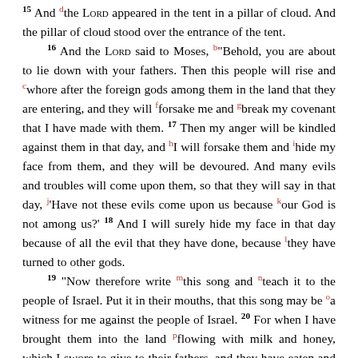15 And the LORD appeared in the tent in a pillar of cloud. And the pillar of cloud stood over the entrance of the tent. 16 And the LORD said to Moses, "Behold, you are about to lie down with your fathers. Then this people will rise and whore after the foreign gods among them in the land that they are entering, and they will forsake me and break my covenant that I have made with them. 17 Then my anger will be kindled against them in that day, and I will forsake them and hide my face from them, and they will be devoured. And many evils and troubles will come upon them, so that they will say in that day, 'Have not these evils come upon us because our God is not among us?' 18 And I will surely hide my face in that day because of all the evil that they have done, because they have turned to other gods. 19 "Now therefore write this song and teach it to the people of Israel. Put it in their mouths, that this song may be a witness for me against the people of Israel. 20 For when I have brought them into the land flowing with milk and honey, which I swore to give to their fathers, and they have eaten and are full and